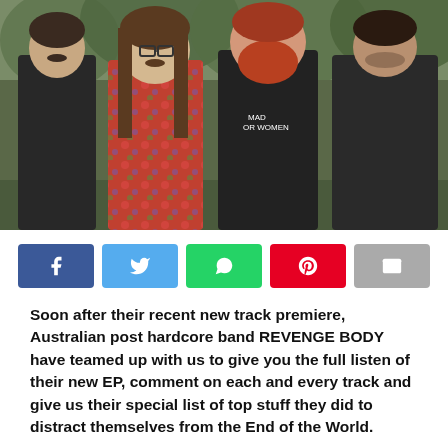[Figure (photo): Four members of Australian post hardcore band REVENGE BODY standing outdoors in front of trees/greenery. From left: man in dark t-shirt, man with long hair and floral shirt, heavier man with red beard in black t-shirt, and man in dark t-shirt on the right.]
Social share buttons: Facebook, Twitter, WhatsApp, Pinterest, Email
Soon after their recent new track premiere, Australian post hardcore band REVENGE BODY have teamed up with us to give you the full listen of their new EP, comment on each and every track and give us their special list of top stuff they did to distract themselves from the End of the World.